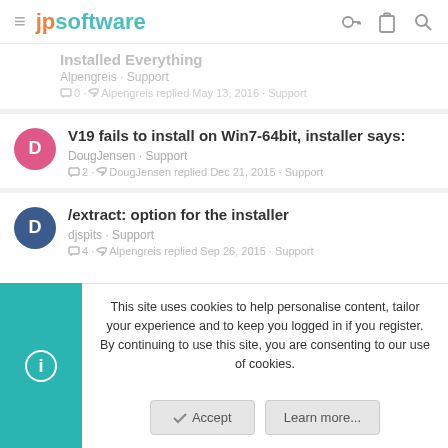jpsoftware
Installed Everything · Alpengreis · Support · 0 · Alpengreis replied May 13, 2016 · Support
V19 fails to install on Win7-64bit, installer says:
DougJensen · Support · 2 · DougJensen replied Dec 21, 2015 · Support
/extract: option for the installer
djspits · Support · 4 · Alpengreis replied Sep 26, 2015 · Support
This site uses cookies to help personalise content, tailor your experience and to keep you logged in if you register. By continuing to use this site, you are consenting to our use of cookies.